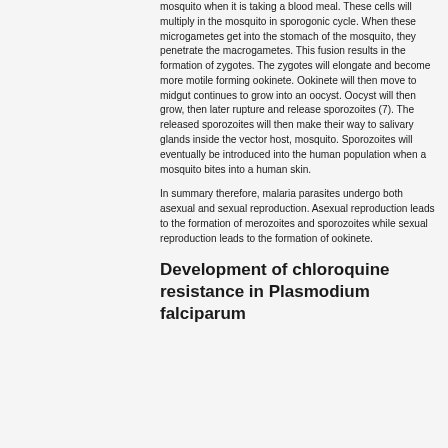mosquito when it is taking a blood meal. These cells will multiply in the mosquito in sporogonic cycle. When these microgametes get into the stomach of the mosquito, they penetrate the macrogametes. This fusion results in the formation of zygotes. The zygotes will elongate and become more motile forming ookinete. Ookinete will then move to midgut continues to grow into an oocyst. Oocyst will then grow, then later rupture and release sporozoites (7). The released sporozoites will then make their way to salivary glands inside the vector host, mosquito. Sporozoites will eventually be introduced into the human population when a mosquito bites into a human skin.
In summary therefore, malaria parasites undergo both asexual and sexual reproduction. Asexual reproduction leads to the formation of merozoites and sporozoites while sexual reproduction leads to the formation of ookinete.
Development of chloroquine resistance in Plasmodium falciparum